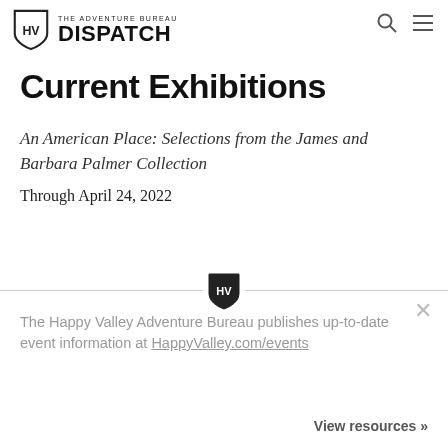#GETAWAY  #HISTORY  #STATE COLLEGE
Current Exhibitions
An American Place: Selections from the James and Barbara Palmer Collection
Through April 24, 2022
The Happy Valley Adventure Bureau publishes up-to-date event information at HappyValley.com/events
View resources »